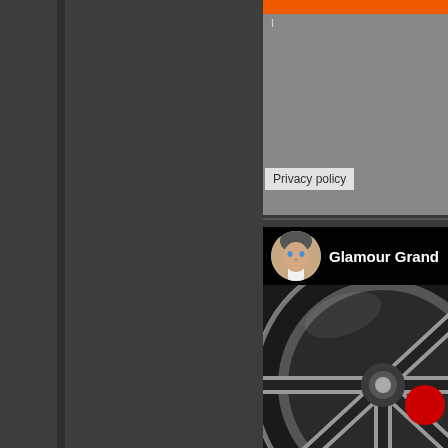[Figure (screenshot): Dark gray left panel of a web application or browser sidebar]
[Figure (screenshot): Top-right gray panel with orange header bar and Privacy policy button]
Privacy policy
[Figure (screenshot): YouTube-style video card showing channel avatar with a person's face, channel name 'Glamour Grand', and a car wheel image with red badge]